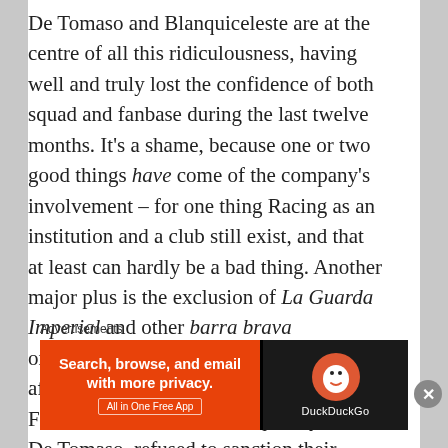De Tomaso and Blanquiceleste are at the centre of all this ridiculousness, having well and truly lost the confidence of both squad and fanbase during the last twelve months. It's a shame, because one or two good things have come of the company's involvement – for one thing Racing as an institution and a club still exist, and that at least can hardly be a bad thing. Another major plus is the exclusion of La Guarda Imperial and other barra brava organisations from the home terraces after Blanquiceleste under former boss Fernando Marín, and subsequently under De Tomaso, refused to sanction their actions. Good work has been done at Racing, and the latter is an admirable policy which we can only dream might
Advertisements
[Figure (other): DuckDuckGo advertisement banner: orange section on left reads 'Search, browse, and email with more privacy. All in One Free App', dark section on right shows DuckDuckGo logo and name.]